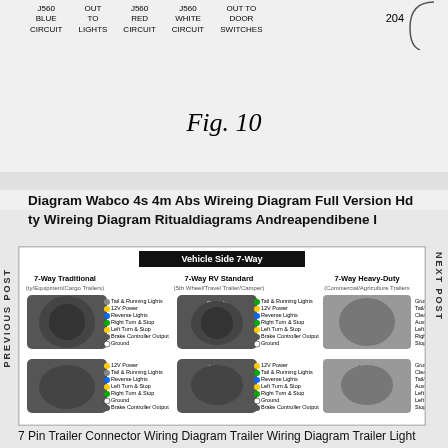J560 BLUE CIRCUIT   OUT TO LIGHTS   J560 RED CIRCUIT   J560 WHITE CIRCUIT   OUT TO DOOR SWITCHES   204
Fig. 10
Diagram Wabco 4s 4m Abs Wireing Diagram Full Version Hd   ty Wireing Diagram Ritualdiagrams Andreapendibene I
[Figure (engineering-diagram): Vehicle Side 7-Way trailer connector wiring diagrams showing 7-Way Traditional, 7-Way RV Standard (5th Wheel/Travel Trailer/Camper), and 7-Way Heavy-Duty (Commercial/Agriculture Trailers) with wire color codes for Ground, Tail/Running Lights, Clearance, Auxiliary/ABS Power, Right Turn, Left Turn, Stop Lamp, 12V Power, Reverse Lights, Brake Controller Output.]
7 Pin Trailer Connector Wiring Diagram Trailer Wiring Diagram Trailer Light Wiring Fifth Wheel Trailers